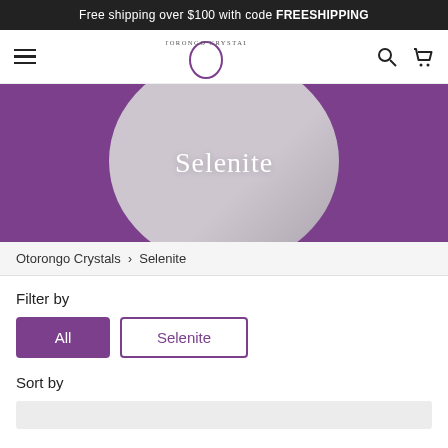Free shipping over $100 with code FREESHIPPING
[Figure (logo): Otorongo Crystals logo with circular O monogram and brand name text]
[Figure (photo): Hero banner image showing a selenite crystal/sphere on purple background with text 'Selenite' overlaid in white serif font]
Otorongo Crystals > Selenite
Filter by
All
Selenite
Sort by